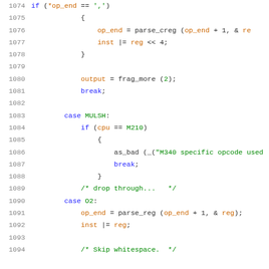[Figure (screenshot): Source code listing showing C code lines 1074-1094, with syntax highlighting: line numbers in gray, keywords in blue, strings/numbers/comments in green, variables in orange.]